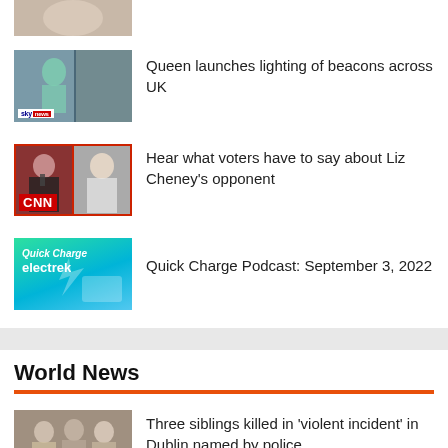[Figure (photo): Partially visible photo thumbnail at top of page (cropped)]
[Figure (screenshot): Sky News thumbnail showing Queen Elizabeth in green outfit]
Queen launches lighting of beacons across UK
[Figure (screenshot): CNN thumbnail showing two people with CNN logo]
Hear what voters have to say about Liz Cheney’s opponent
[Figure (screenshot): Electrek Quick Charge Podcast thumbnail with green/blue gradient]
Quick Charge Podcast: September 3, 2022
World News
[Figure (photo): Thumbnail showing siblings, partially visible]
Three siblings killed in ‘violent incident’ in Dublin named by police